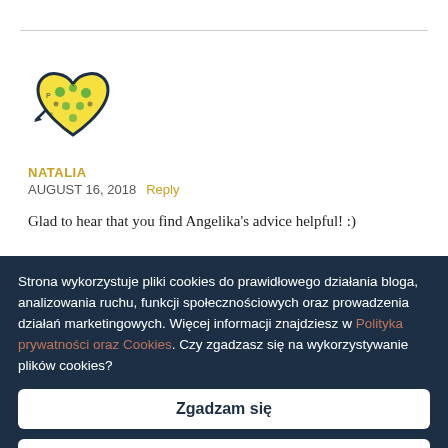[Figure (illustration): Heart-shaped avatar logo with yellow and green design, dark blue outline, with small decorative elements]
NATALIA
AUGUST 16, 2018   Reply
Glad to hear that you find Angelika's advice helpful! :)
Strona wykorzystuje pliki cookies do prawidłowego działania bloga, analizowania ruchu, funkcji społecznościowych oraz prowadzenia działań marketingowych. Więcej informacji znajdziesz w Polityka prywatności oraz Cookies. Czy zgadzasz się na wykorzystywanie plików cookies?
Zgadzam się
Wyłącz ciasteczka